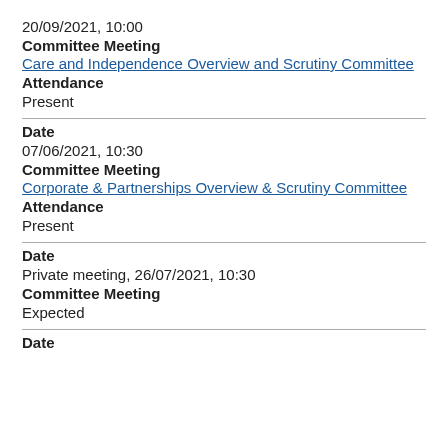20/09/2021, 10:00
Committee Meeting
Care and Independence Overview and Scrutiny Committee
Attendance
Present
Date
07/06/2021, 10:30
Committee Meeting
Corporate & Partnerships Overview & Scrutiny Committee
Attendance
Present
Date
Private meeting, 26/07/2021, 10:30
Committee Meeting
Expected
Date